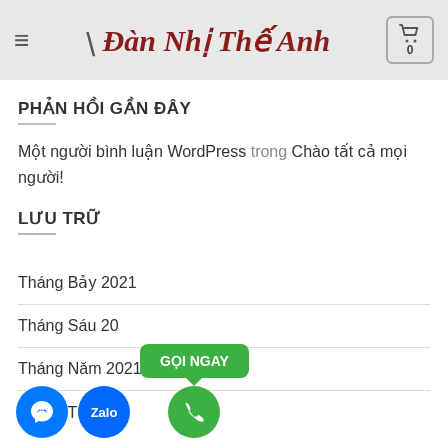Đàn Nhị Thế Anh
PHẢN HỒI GẦN ĐÂY
Một người bình luận WordPress trong Chào tất cả mọi người!
LƯU TRỮ
Tháng Bảy 2021
Tháng Sáu 20...
Tháng Năm 2021
Tháng Tư 2021